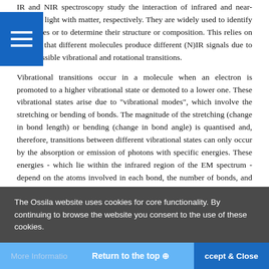IR and NIR spectroscopy study the interaction of infrared and near-infrared light with matter, respectively. They are widely used to identify molecules or to determine their structure or composition. This relies on the fact that different molecules produce different (N)IR signals due to their possible vibrational and rotational transitions.
Vibrational transitions occur in a molecule when an electron is promoted to a higher vibrational state or demoted to a lower one. These vibrational states arise due to "vibrational modes", which involve the stretching or bending of bonds. The magnitude of the stretching (change in bond length) or bending (change in bond angle) is quantised and, therefore, transitions between different vibrational states can only occur by the absorption or emission of photons with specific energies. These energies - which lie within the infrared region of the EM spectrum - depend on the atoms involved in each bond, the number of bonds, and their relative
The Ossila website uses cookies for core functionality. By continuing to browse the website you consent to the use of these cookies.
More Information   Return to the top ⊕   Accept & Close